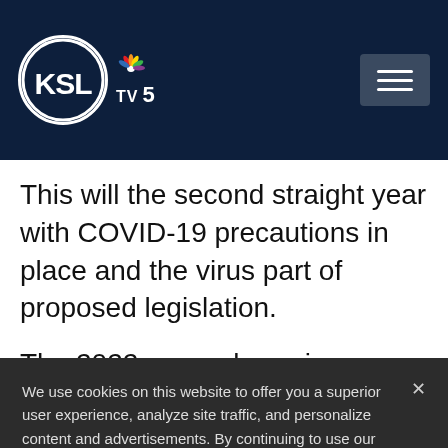KSL TV 5
This will the second straight year with COVID-19 precautions in place and the virus part of proposed legislation.
The 2022 general session begins on Tuesday.
We use cookies on this website to offer you a superior user experience, analyze site traffic, and personalize content and advertisements. By continuing to use our site, you consent to our use of cookies. Please visit our Privacy Policy for more information.
Accept Cookies